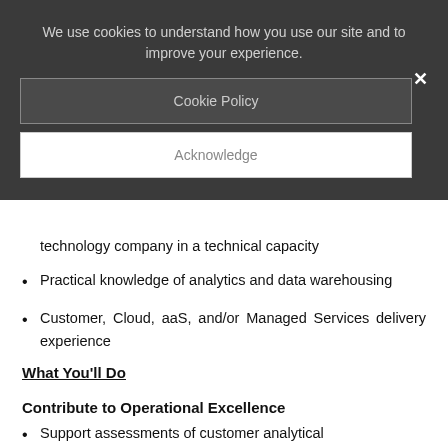We use cookies to understand how you use our site and to improve your experience.
Cookie Policy
Acknowledge
technology company in a technical capacity
Practical knowledge of analytics and data warehousing
Customer, Cloud, aaS, and/or Managed Services delivery experience
What You'll Do
Contribute to Operational Excellence
Support assessments of customer analytical